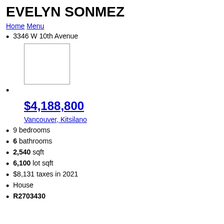EVELYN SONMEZ
Home Menu
3346 W 10th Avenue
[Figure (photo): Property image placeholder (empty white box with border)]
$4,188,800
Vancouver, Kitsilano
9 bedrooms
6 bathrooms
2,540 sqft
6,100 lot sqft
$8,131 taxes in 2021
House
R2703430